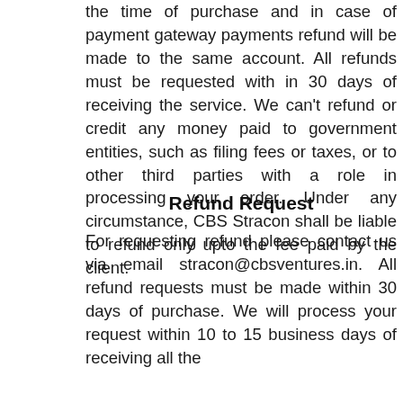the time of purchase and in case of payment gateway payments refund will be made to the same account. All refunds must be requested with in 30 days of receiving the service. We can't refund or credit any money paid to government entities, such as filing fees or taxes, or to other third parties with a role in processing your order. Under any circumstance, CBS Stracon shall be liable to refund only upto the fee paid by the client.
Refund Request
For requesting refund please contact us via email stracon@cbsventures.in. All refund requests must be made within 30 days of purchase. We will process your request within 10 to 15 business days of receiving all the